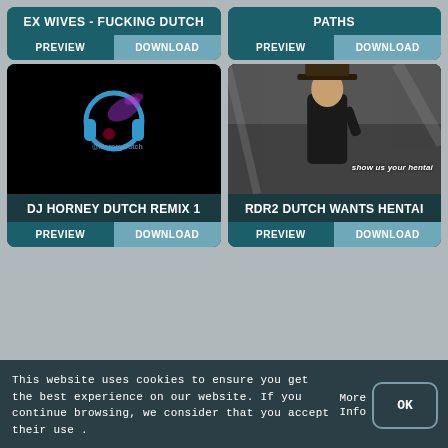EX WIVES - FUCKING DUTCH
PREVIEW
DOWNLOAD
PATHS
PREVIEW
DOWNLOAD
[Figure (photo): Dark background with glowing blue headphones and purple/pink splatter art, watermark @HorneyDutch]
DJ HORNEY DUTCH REMIX 1
PREVIEW
DOWNLOAD
[Figure (photo): Man in dark coat and cowboy hat raising hand, text overlay 'show us your hentai']
RDR2 DUTCH WANTS HENTAI
PREVIEW
DOWNLOAD
This website uses cookies to ensure you get the best experience on our website. If you continue browsing, we consider that you accept their use .
More Info
OK